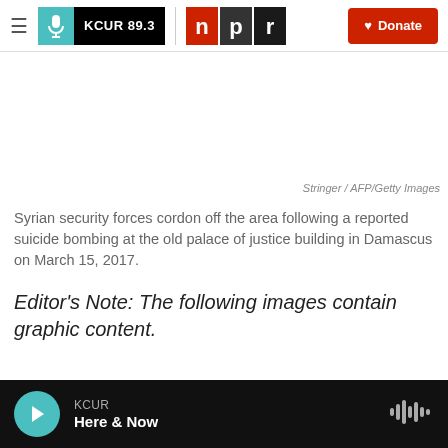KCUR 89.3 | NPR | Donate
[Figure (photo): Blank/white image area representing a photo of Syrian security forces cordoning off the area following a reported suicide bombing at the old palace of justice building in Damascus on March 15, 2017.]
Stringer / AFP/Getty Images
Syrian security forces cordon off the area following a reported suicide bombing at the old palace of justice building in Damascus on March 15, 2017.
Editor's Note: The following images contain graphic content.
KCUR Here & Now